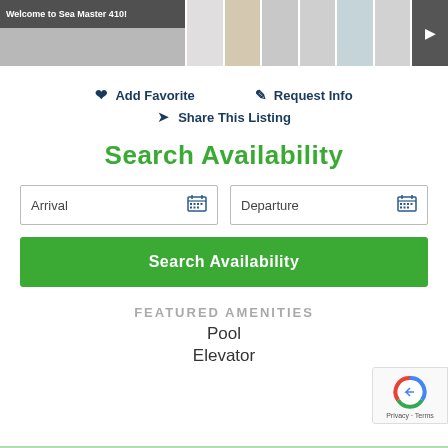[Figure (photo): Photo strip showing property images of Sea Master 410 unit with banner label and thumbnail gallery]
Add Favorite
Request Info
Share This Listing
Search Availability
Arrival
Departure
Search Availability
FEATURED AMENITIES
Pool
Elevator